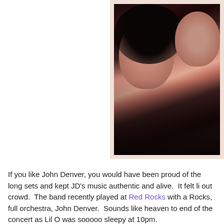[Figure (photo): A selfie photo of a young girl with dark hair smiling closely with an older man, taken in a dark indoor setting. The photo has a light pinkish-beige border/frame.]
If you like John Denver, you would have been proud of the long sets and kept JD's music authentic and alive.  It felt li out crowd.  The band recently played at Red Rocks with a Rocks, full orchestra, John Denver.  Sounds like heaven to end of the concert as Lil O was sooooo sleepy at 10pm.